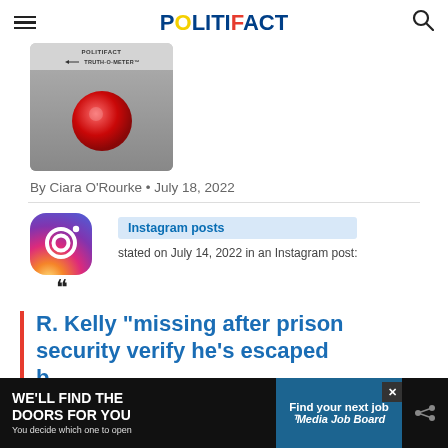POLITIFACT
[Figure (photo): PolitiFact Truth-O-Meter gauge showing the needle pointing to 'Pants on Fire' (red ball)]
By Ciara O'Rourke • July 18, 2022
[Figure (logo): Instagram logo icon with speech bubble and quote marks]
Instagram posts stated on July 14, 2022 in an Instagram post:
R. Kelly "missing after prison security verify he's escaped b[ehind bars]"